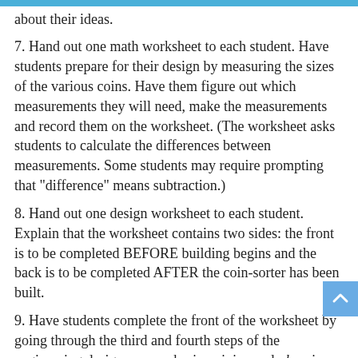about their ideas.
7. Hand out one math worksheet to each student. Have students prepare for their design by measuring the sizes of the various coins. Have them figure out which measurements they will need, make the measurements and record them on the worksheet. (The worksheet asks students to calculate the differences between measurements. Some students may require prompting that "difference" means subtraction.)
8. Hand out one design worksheet to each student. Explain that the worksheet contains two sides: the front is to be completed BEFORE building begins and the back is to be completed AFTER the coin-sorter has been built.
9. Have students complete the front of the worksheet by going through the third and fourth steps of the engineering design process by imagining and planning their coin sorters. Have them share ideas with their group and draw their designs with labels indicating material